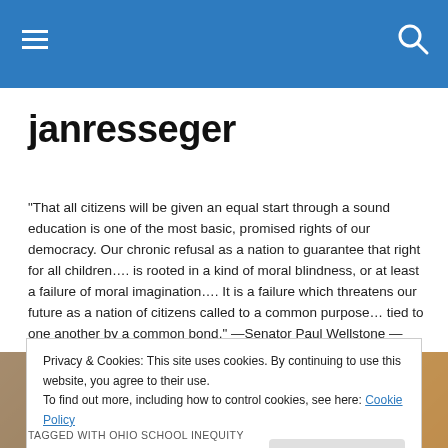janresseger
janresseger
"That all citizens will be given an equal start through a sound education is one of the most basic, promised rights of our democracy. Our chronic refusal as a nation to guarantee that right for all children…. is rooted in a kind of moral blindness, or at least a failure of moral imagination…. It is a failure which threatens our future as a nation of citizens called to a common purpose… tied to one another by a common bond." —Senator Paul Wellstone — March 31, 2000
Privacy & Cookies: This site uses cookies. By continuing to use this website, you agree to their use.
To find out more, including how to control cookies, see here: Cookie Policy
Close and accept
TAGGED WITH OHIO SCHOOL INEQUITY